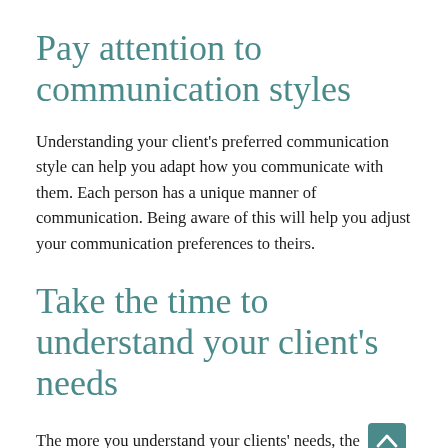Pay attention to communication styles
Understanding your client's preferred communication style can help you adapt how you communicate with them. Each person has a unique manner of communication. Being aware of this will help you adjust your communication preferences to theirs.
Take the time to understand your client's needs
The more you understand your clients' needs, the better off all parties will be.